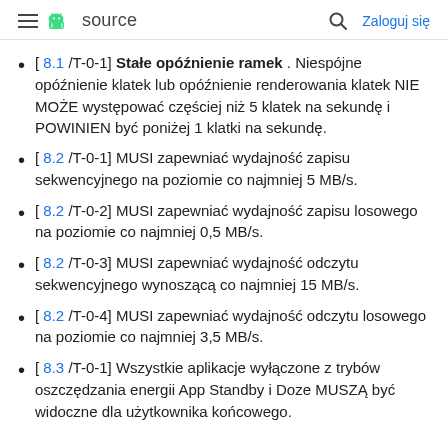≡ [android logo] source   [search icon] Zaloguj się
[ 8.1 /T-0-1] Stałe opóźnienie ramek . Niespójne opóźnienie klatek lub opóźnienie renderowania klatek NIE MOŻE występować częściej niż 5 klatek na sekundę i POWINIEN być poniżej 1 klatki na sekundę.
[ 8.2 /T-0-1] MUSI zapewniać wydajność zapisu sekwencyjnego na poziomie co najmniej 5 MB/s.
[ 8.2 /T-0-2] MUSI zapewniać wydajność zapisu losowego na poziomie co najmniej 0,5 MB/s.
[ 8.2 /T-0-3] MUSI zapewniać wydajność odczytu sekwencyjnego wynoszącą co najmniej 15 MB/s.
[ 8.2 /T-0-4] MUSI zapewniać wydajność odczytu losowego na poziomie co najmniej 3,5 MB/s.
[ 8.3 /T-0-1] Wszystkie aplikacje wyłączone z trybów oszczędzania energii App Standby i Doze MUSZĄ być widoczne dla użytkownika końcowego.